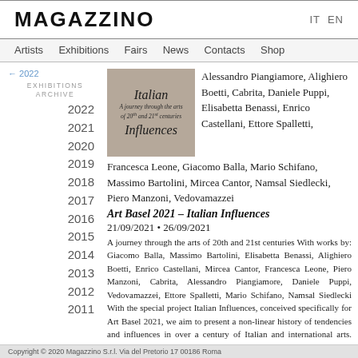MAGAZZINO   IT EN
Artists   Exhibitions   Fairs   News   Contacts   Shop
← 2022
EXHIBITIONS ARCHIVE
2022
2021
2020
2019
2018
2017
2016
2015
2014
2013
2012
2011
[Figure (illustration): Exhibition cover image for Italian Influences - a grey/beige cover with italic text reading 'Italian', 'A journey through the arts of 20th and 21st centuries', 'Influences']
Alessandro Piangiamore, Alighiero Boetti, Cabrita, Daniele Puppi, Elisabetta Benassi, Enrico Castellani, Ettore Spalletti, Francesca Leone, Giacomo Balla, Mario Schifano, Massimo Bartolini, Mircea Cantor, Namsal Siedlecki, Piero Manzoni, Vedovamazzei
Art Basel 2021 – Italian Influences
21/09/2021 • 26/09/2021
A journey through the arts of 20th and 21st centuries With works by: Giacomo Balla, Massimo Bartolini, Elisabetta Benassi, Alighiero Boetti, Enrico Castellani, Mircea Cantor, Francesca Leone, Piero Manzoni, Cabrita, Alessandro Piangiamore, Daniele Puppi, Vedovamazzei, Ettore Spalletti, Mario Schifano, Namsal Siedlecki With the special project Italian Influences, conceived specifically for Art Basel 2021, we aim to present a non-linear history of tendencies and influences in over a century of Italian and international arts. Starting from the historical avant-garde, throughout its Postwar reformulation and exploring a series of look-backs by contemporary
Copyright © 2020 Magazzino S.r.l. Via del Pretorio 17 00186 Roma